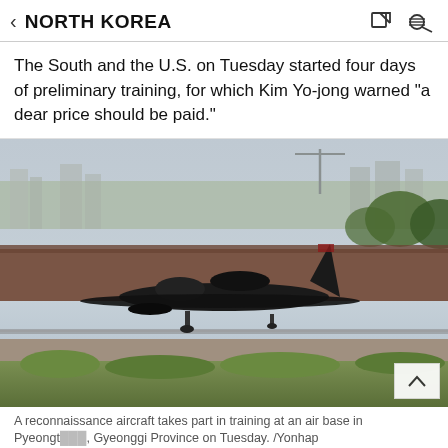NORTH KOREA
The South and the U.S. on Tuesday started four days of preliminary training, for which Kim Yo-jong warned "a dear price should be paid."
[Figure (photo): A black reconnaissance aircraft (U-2 spy plane) taking off or landing at an air base in Pyeongtaek, Gyeonggi Province. Buildings and cranes visible in background, vegetation in foreground with fence and barbed wire.]
A reconnaissance aircraft takes part in training at an air base in Pyeongtaek, Gyeonggi Province on Tuesday. /Yonhap